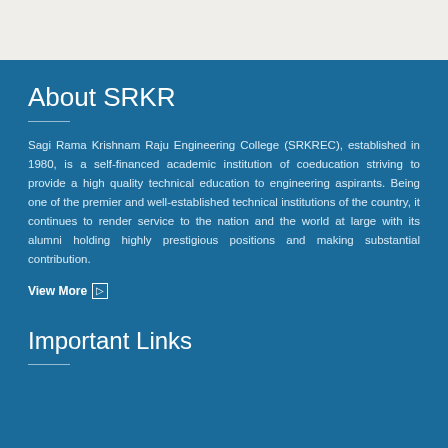About SRKR
Sagi Rama Krishnam Raju Engineering College (SRKREC), established in 1980, is a self-financed academic institution of coeducation striving to provide a high quality technical education to engineering aspirants. Being one of the premier and well-established technical institutions of the country, it continues to render service to the nation and the world at large with its alumni holding highly prestigious positions and making substantial contribution.
View More
Important Links